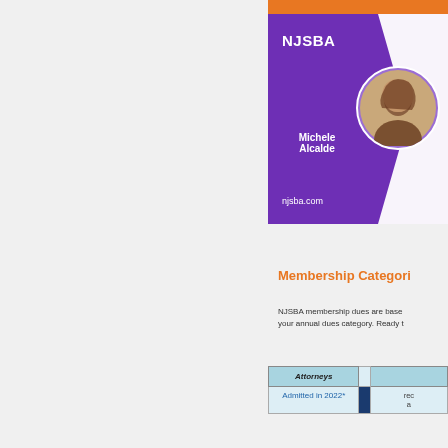[Figure (photo): NJSBA membership card featuring Michele Alcalde with a circular headshot photo on purple background, white arrow shape, and njsba.com URL]
Membership Categories
NJSBA membership dues are based on your annual dues category. Ready t
| Attorneys |  |
| --- | --- |
| Admitted in 2022* | rec
a |